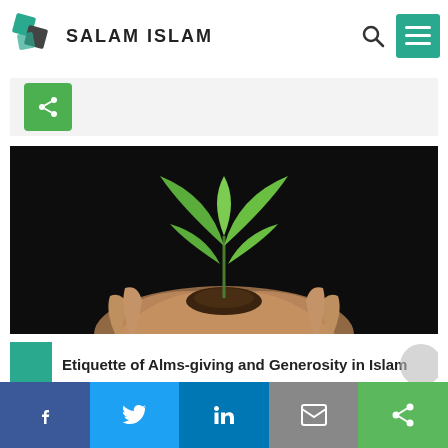[Figure (logo): Salam Islam logo with green geometric icon and bold text SALAM ISLAM]
[Figure (photo): Hands holding a small green plant seedling growing from dark soil against a black background]
Etiquette of Alms-giving and Generosity in Islam